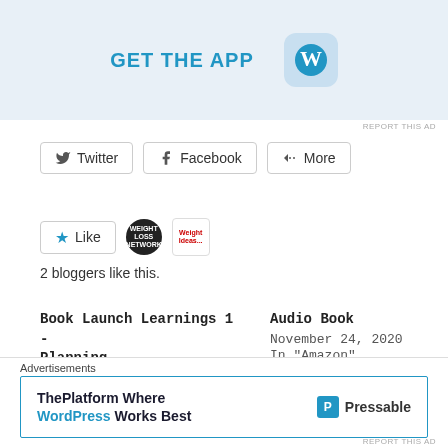[Figure (screenshot): Top WordPress app advertisement banner with 'GET THE APP' text and WordPress logo icon on light blue background]
REPORT THIS AD
[Figure (screenshot): Social share buttons: Twitter, Facebook, More]
[Figure (screenshot): Like button with star icon, two blogger avatars (Weight Loss Network, Weight Ideas)]
2 bloggers like this.
Book Launch Learnings 1 - Planning
July 3, 2020
In "Character"
Audio Book
November 24, 2020
In "Amazon"
Man Box
December 10, 2020
In "advocates"
Advertisements
[Figure (screenshot): Pressable advertisement banner: 'ThePlatform Where WordPress Works Best' with Pressable logo]